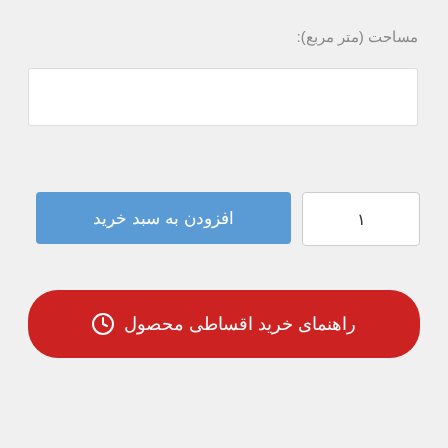مساحت (متر مربع):
[Figure (screenshot): Text input field for area in square meters]
[Figure (screenshot): Blue button labeled افزودن به سبد خرید (Add to cart) and quantity input box showing ١]
[Figure (screenshot): Red rounded button with clock icon labeled راهنمای خرید اقساطی محصول (Product installment purchase guide)]